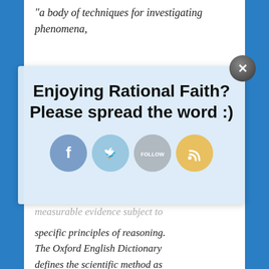“a body of techniques for investigating phenomena,
[Figure (screenshot): Popup overlay with text 'Enjoying Rational Faith? Please spread the word :)' and social media icons for Facebook, Twitter, Follow, and RSS feed]
measurable evidence subject to specific principles of reasoning. The Oxford English Dictionary defines the scientific method as “a method or procedure that has characterized natural science since the 17th century, consisting in systematic